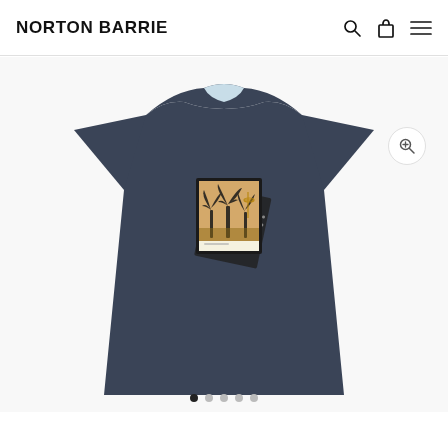NORTON BARRIE
[Figure (photo): Navy blue crew-neck t-shirt with a polaroid-style graphic print on the chest featuring palm trees and a basketball hoop, displayed on a male model against a light grey background.]